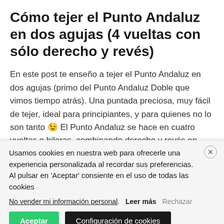Cómo tejer el Punto Andaluz en dos agujas (4 vueltas con sólo derecho y revés)
En este post te enseño a tejer el Punto Andaluz en dos agujas (primo del Punto Andaluz Doble que vimos tiempo atrás). Una puntada preciosa, muy fácil de tejer, ideal para principiantes, y para quienes no lo son tanto 😉 El Punto Andaluz se hace en cuatro vueltas o hileras, combinando derecho y revés en sólo una de
Usamos cookies en nuestra web para ofrecerle una experiencia personalizada al recordar sus preferencias. Al pulsar en 'Aceptar' consiente en el uso de todas las cookies
No vender mi información personal. Leer más Rechazar
Aceptar Configuración de cookies